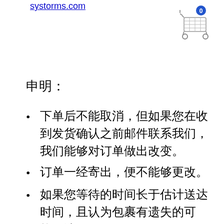systorms.com
[Figure (illustration): Shopping cart icon with blue badge showing number 0]
申明：
下单后不能取消，但如果您在收到发货确认之前邮件联系我们，我们能够对订单做出改变。
订单一经寄出，便不能够更改。
如果您等待的时间长于估计送达时间，且认为包裹有遗失的可能，请